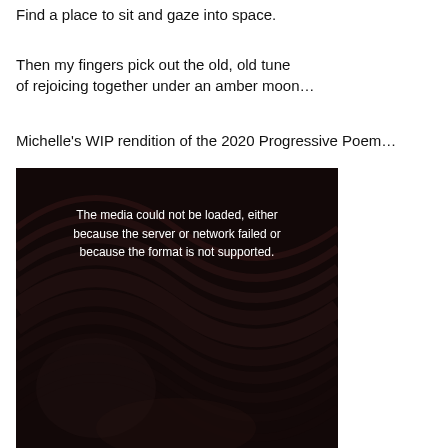Find a place to sit and gaze into space.
Then my fingers pick out the old, old tune
of rejoicing together under an amber moon…
Michelle's WIP rendition of the 2020 Progressive Poem…
[Figure (screenshot): Video player with dark swirling background showing error message: 'The media could not be loaded, either because the server or network failed or because the format is not supported.']